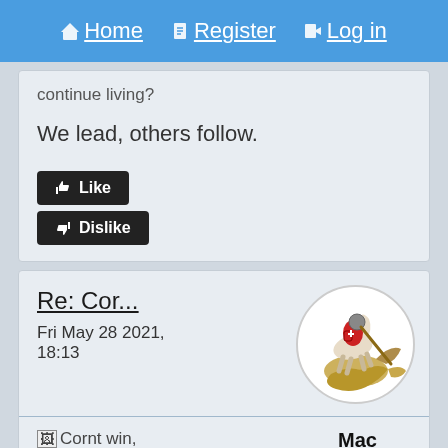Home | Register | Log in
continue living?
We lead, others follow.
Like
Dislike
Re: Cor...
Fri May 28 2021, 18:13
[Figure (illustration): Circular avatar showing a knight on horseback slaying a dragon, medieval style illustration on white background]
Mac
Cornt win, 192219975_35